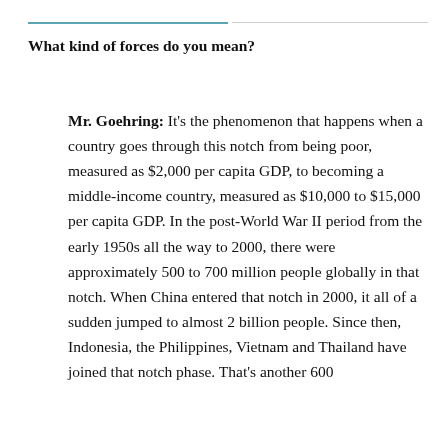What kind of forces do you mean?
Mr. Goehring: It's the phenomenon that happens when a country goes through this notch from being poor, measured as $2,000 per capita GDP, to becoming a middle-income country, measured as $10,000 to $15,000 per capita GDP. In the post-World War II period from the early 1950s all the way to 2000, there were approximately 500 to 700 million people globally in that notch. When China entered that notch in 2000, it all of a sudden jumped to almost 2 billion people. Since then, Indonesia, the Philippines, Vietnam and Thailand have joined that notch phase. That's another 600